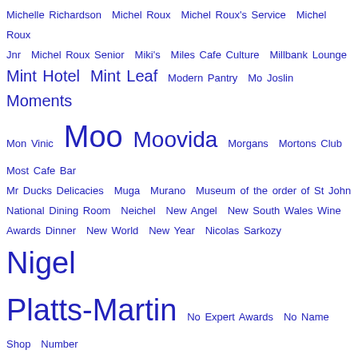Michelle Richardson Michel Roux Michel Roux's Service Michel Roux Jnr Michel Roux Senior Miki's Miles Cafe Culture Millbank Lounge Mint Hotel Mint Leaf Modern Pantry Mo Joslin Moments Mon Vinic Moo Moovida Morgans Mortons Club Most Cafe Bar Mr Ducks Delicacies Muga Murano Museum of the order of St John National Dining Room Neichel New Angel New South Wales Wine Awards Dinner New World New Year Nicolas Sarkozy Nigel Platts-Martin No Expert Awards No Name Shop Number One at The Balmoral O're the Moon Ob-oom "Mini C" Chutiakul Old World Hospitality Oliver Peyton Olly Smith Omera Open House London Orange Wine Orsini Osteria Dell'Angolo OT Outsider Tart Oval Farmers Market Pacari Padstow Palm Court Strings Parc des Eaux-Vives Park Plaza Riverbank Patchi Patisserie Valerie Patrisey Paul A Young Paul Bocuse Paul Hollywood Paul Wayne Gregory Pedro Ximénez Pegwell Bay Penfolds Peter Gilmore Peter